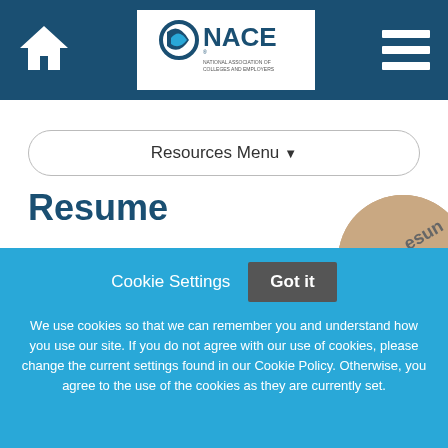NACE - National Association of Colleges and Employers
Resources Menu
Resume
[Figure (photo): Partial circular cropped photo showing keyboard/resume-related imagery with text 'esun' visible]
Cookie Settings  Got it
We use cookies so that we can remember you and understand how you use our site. If you do not agree with our use of cookies, please change the current settings found in our Cookie Policy. Otherwise, you agree to the use of the cookies as they are currently set.